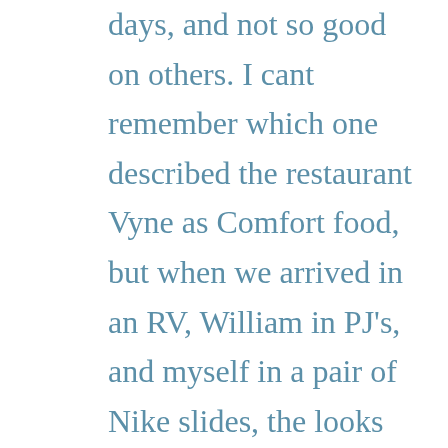…have become good friends some days, and not so good on others. I cant remember which one described the restaurant Vyne as Comfort food, but when we arrived in an RV, William in PJ's, and myself in a pair of Nike slides, the looks on the staff made it clear they were not comfortable with us... The atmosphere, and I assume the food at Vyne is probably perfect for a special occasion, or when dressed appropriately, but we were not, so we headed across the street to a delicious and way friendlier establishment Pies and Pints. The